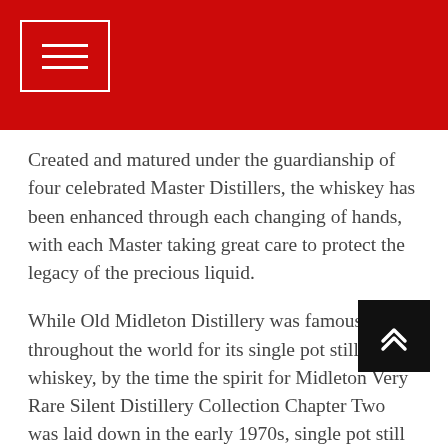[Figure (other): Red navigation header bar with a white-bordered hamburger menu icon (three horizontal lines) in the top-left corner]
Created and matured under the guardianship of four celebrated Master Distillers, the whiskey has been enhanced through each changing of hands, with each Master taking great care to protect the legacy of the precious liquid.
While Old Midleton Distillery was famous throughout the world for its single pot still Irish whiskey, by the time the spirit for Midleton Very Rare Silent Distillery Collection Chapter Two was laid down in the early 1970s, single pot still Irish whiskey had almost disappeared as a category. It was the then Master Distiller Max Crockett's unyielding dedication to the style and its enduring quality that paved the way for this extraordinary release today.
Distilled in the world's largest copper pot still, Cha[pter Tw]o enjoyed an exceptional maturation journey, aging over an unprecedented 46 years. Initially filled into a selection of